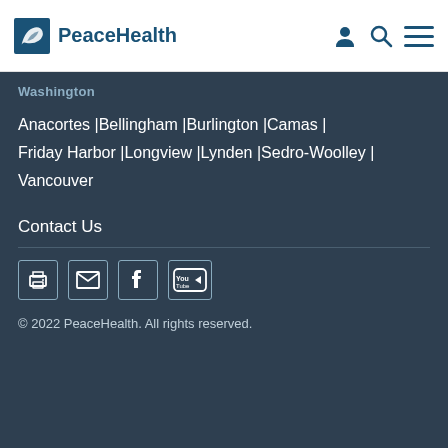PeaceHealth
Washington
Anacortes | Bellingham | Burlington | Camas | Friday Harbor | Longview | Lynden | Sedro-Woolley | Vancouver
Contact Us
[Figure (infographic): Social media icons: printer, email, Facebook, YouTube]
© 2022 PeaceHealth. All rights reserved.